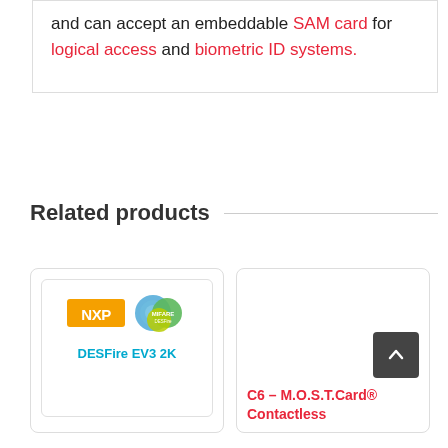and can accept an embeddable SAM card for logical access and biometric ID systems.
Related products
[Figure (illustration): Product card for DESFire EV3 2K showing NXP logo and MIFARE logo with overlapping circles]
DESFire EV3 2K
[Figure (illustration): Product card for C6 – M.O.S.T.Card® Contactless, partially visible with scroll-to-top button overlay]
C6 – M.O.S.T.Card® Contactless